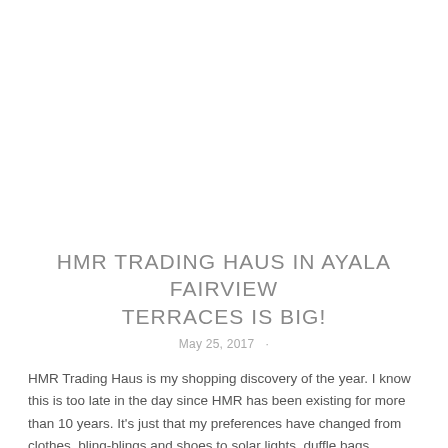HMR TRADING HAUS IN AYALA FAIRVIEW TERRACES IS BIG!
May 25, 2017  ·
HMR Trading Haus is my shopping discovery of the year. I know this is too late in the day since HMR has been existing for more than 10 years. It's just that my preferences have changed from clothes, bling-blings and shoes to solar lights, duffle bags, cooking pans and storage solutions, hehe. It so happens that HMR offers household items in large doses and I love it!